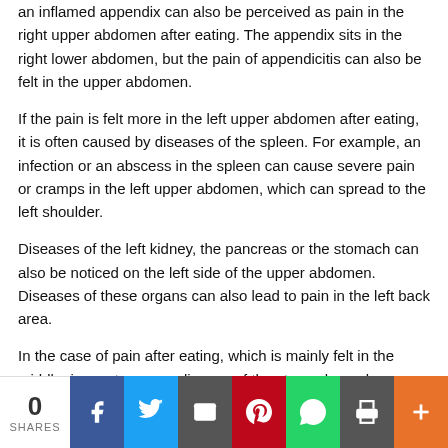an inflamed appendix can also be perceived as pain in the right upper abdomen after eating. The appendix sits in the right lower abdomen, but the pain of appendicitis can also be felt in the upper abdomen.
If the pain is felt more in the left upper abdomen after eating, it is often caused by diseases of the spleen. For example, an infection or an abscess in the spleen can cause severe pain or cramps in the left upper abdomen, which can spread to the left shoulder.
Diseases of the left kidney, the pancreas or the stomach can also be noticed on the left side of the upper abdomen. Diseases of these organs can also lead to pain in the left back area.
In the case of pain after eating, which is mainly felt in the middle, in most cases a disease of the stomach can be assumed. With heartburn (Reflux), for example, acidic gastric juice runs back into the esophagus, causing pain in the center of the chest ar...
[Figure (infographic): Social share bar with 0 shares count and buttons for Facebook, Twitter, Email, Pinterest, WhatsApp, Print, and More]